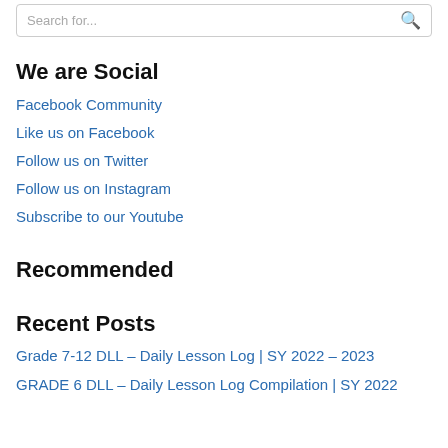Search for...
We are Social
Facebook Community
Like us on Facebook
Follow us on Twitter
Follow us on Instagram
Subscribe to our Youtube
Recommended
Recent Posts
Grade 7-12 DLL – Daily Lesson Log | SY 2022 – 2023
GRADE 6 DLL – Daily Lesson Log Compilation | SY 2022